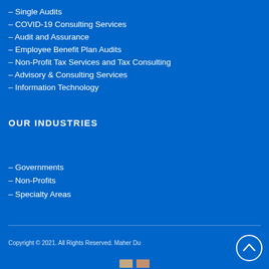– Single Audits
– COVID-19 Consulting Services
– Audit and Assurance
– Employee Benefit Plan Audits
– Non-Profit Tax Services and Tax Consulting
– Advisory & Consulting Services
– Information Technology
OUR INDUSTRIES
– Governments
– Non-Profits
– Specialty Areas
Copyright © 2021. All Rights Reserved. Maher Du